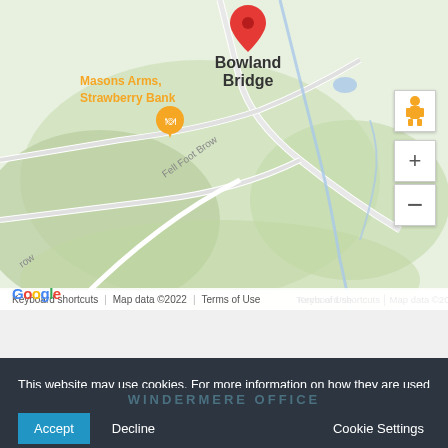[Figure (map): Google Maps screenshot showing Bowland Bridge area with a red pin marker. Shows roads including Fell Foot Brow, a restaurant marker for Masons Arms Strawberry Bank, with zoom controls and pegman icon. Map data ©2022.]
This website may use cookies. For more information on how they are used and how to disable them see our Privacy Policy. Not accepting cookies may affect your experience of this site.
Accept  Decline  Cookie Settings
WINDERMERE OFFICE